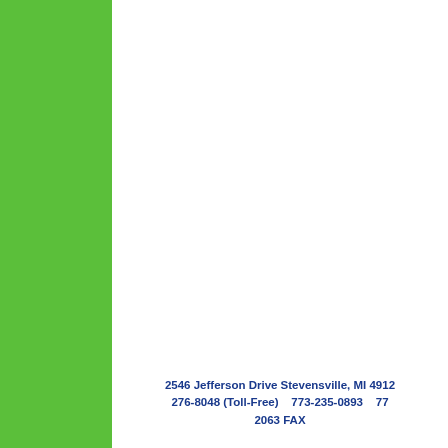2546 Jefferson Drive Stevensville, MI 4912... 276-8048 (Toll-Free)    773-235-0893    77... 2063 FAX